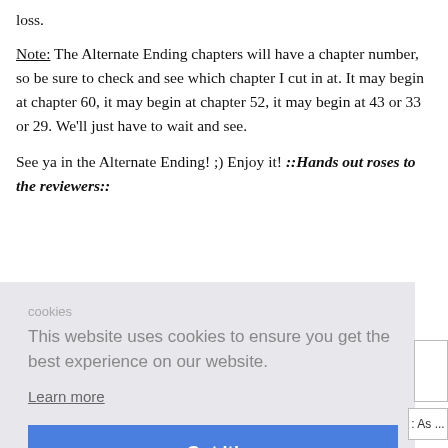loss.
Note: The Alternate Ending chapters will have a chapter number, so be sure to check and see which chapter I cut in at. It may begin at chapter 60, it may begin at chapter 52, it may begin at 43 or 33 or 29. We'll just have to wait and see.
See ya in the Alternate Ending! ;) Enjoy it! ::Hands out roses to the reviewers::
[Figure (screenshot): Cookie consent overlay with message 'This website uses cookies to ensure you get the best experience on our website.' with a 'Learn more' link and a blue 'Got it!' button.]